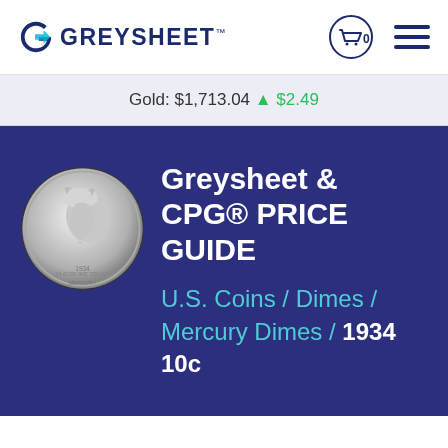[Figure (logo): Greysheet logo with stylized G icon and GREYSHEET text]
Gold: $1,713.04 ↑ $2.49
Greysheet & CPG® PRICE GUIDE
U.S. Coins / Dimes / Mercury Dimes / 1934 10c